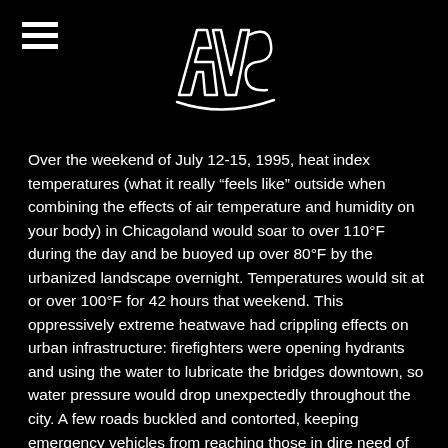AVS logo and hamburger menu
Over the weekend of July 12-15, 1995, heat index temperatures (what it really “feels like” outside when combining the effects of air temperature and humidity on your body) in Chicagoland would soar to over 110°F during the day and be buoyed up over 80°F by the urbanized landscape overnight. Temperatures would sit at or over 100°F for 42 hours that weekend. This oppressively extreme heatwave had crippling effects on urban infrastructure: firefighters were opening hydrants and using the water to lubricate the bridges downtown, so water pressure would drop unexpectedly throughout the city. A few roads buckled and contorted, keeping emergency vehicles from reaching those in dire need of assistance, while rolling blackouts plagued neighborhoods across the city.